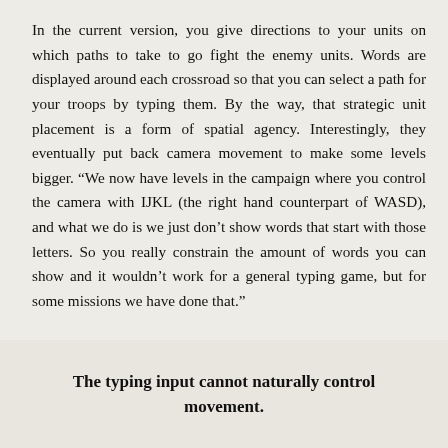In the current version, you give directions to your units on which paths to take to go fight the enemy units. Words are displayed around each crossroad so that you can select a path for your troops by typing them. By the way, that strategic unit placement is a form of spatial agency. Interestingly, they eventually put back camera movement to make some levels bigger. “We now have levels in the campaign where you control the camera with IJKL (the right hand counterpart of WASD), and what we do is we just don’t show words that start with those letters. So you really constrain the amount of words you can show and it wouldn’t work for a general typing game, but for some missions we have done that.”
The typing input cannot naturally control movement.